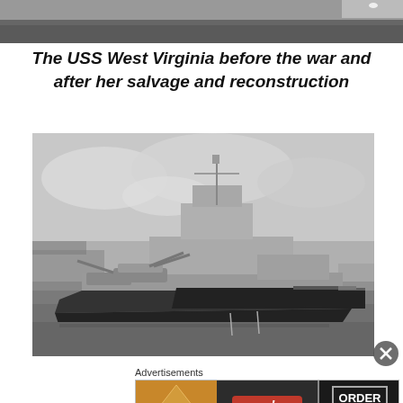[Figure (photo): Partial top view of a naval warship on water, black and white photograph (cropped)]
The USS West Virginia before the war and after her salvage and reconstruction
[Figure (photo): Black and white photograph of the USS West Virginia battleship moored in a harbor after reconstruction, side profile view showing superstructure, turrets, and hull]
Advertisements
[Figure (other): Seamless food delivery advertisement banner with pizza image on left, Seamless logo in center, and ORDER NOW button on right]